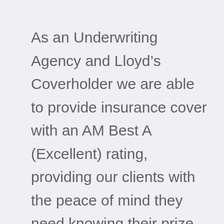As an Underwriting Agency and Lloyd’s Coverholder we are able to provide insurance cover with an AM Best A (Excellent) rating, providing our clients with the peace of mind they need knowing their prize fund and budgets are completely secure.
EXPERTISE